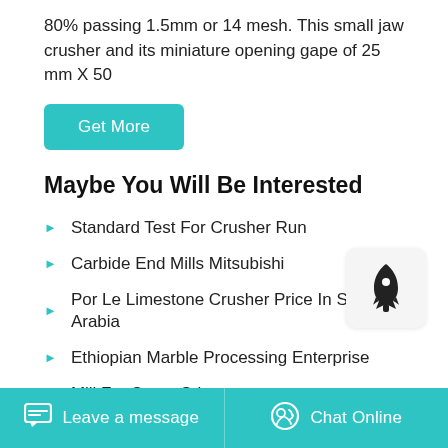80% passing 1.5mm or 14 mesh. This small jaw crusher and its miniature opening gape of 25 mm X 50
Get More
Maybe You Will Be Interested
Standard Test For Crusher Run
Carbide End Mills Mitsubishi
Por Le Limestone Crusher Price In Saudi Arabia
Ethiopian Marble Processing Enterprise
Mill For Stone Sri
Mobile Crusher Plant Nm Rental
Leave a message   Chat Online